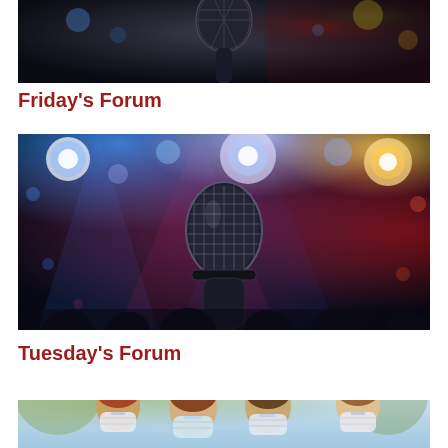[Figure (photo): Cropped view of a microphone and performer on stage with dark background, top portion of image visible]
Friday's Forum
[Figure (photo): A microphone on stage with colorful bokeh stage lights in the background — blue, magenta, and warm yellow lights, dark venue interior]
Tuesday's Forum
[Figure (photo): Children wearing face masks outdoors, partially visible at bottom of page]